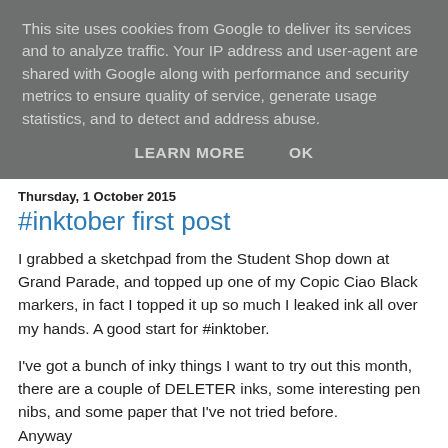This site uses cookies from Google to deliver its services and to analyze traffic. Your IP address and user-agent are shared with Google along with performance and security metrics to ensure quality of service, generate usage statistics, and to detect and address abuse.
LEARN MORE    OK
Thursday, 1 October 2015
#inktober first post
I grabbed a sketchpad from the Student Shop down at Grand Parade, and topped up one of my Copic Ciao Black markers, in fact I topped it up so much I leaked ink all over my hands. A good start for #inktober.
I've got a bunch of inky things I want to try out this month, there are a couple of DELETER inks, some interesting pen nibs, and some paper that I've not tried before.
Anyway
First sketch of #inktober is a Vampire Dinosaur, I muffed the